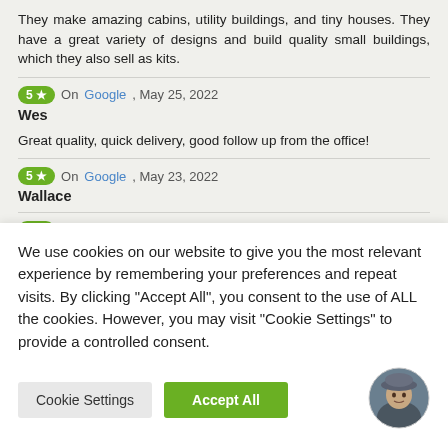They make amazing cabins, utility buildings, and tiny houses. They have a great variety of designs and build quality small buildings, which they also sell as kits.
5★ On Google, May 25, 2022
Wes
Great quality, quick delivery, good follow up from the office!
5★ On Google, May 23, 2022
Wallace
5★ On Google, May 23, 2022
dhadams3
Great service and fun to put together and looks great in new
We use cookies on our website to give you the most relevant experience by remembering your preferences and repeat visits. By clicking "Accept All", you consent to the use of ALL the cookies. However, you may visit "Cookie Settings" to provide a controlled consent.
Cookie Settings
Accept All